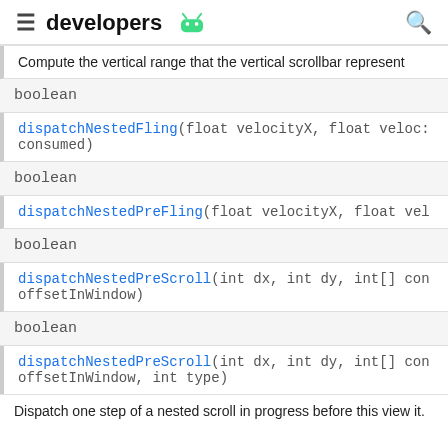developers
Compute the vertical range that the vertical scrollbar represent
boolean
dispatchNestedFling(float velocityX, float veloc: consumed)
boolean
dispatchNestedPreFling(float velocityX, float vel
boolean
dispatchNestedPreScroll(int dx, int dy, int[] con offsetInWindow)
boolean
dispatchNestedPreScroll(int dx, int dy, int[] con offsetInWindow, int type)
Dispatch one step of a nested scroll in progress before this view it.